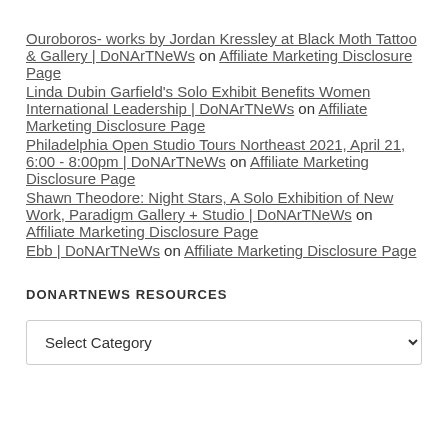Ouroboros- works by Jordan Kressley at Black Moth Tattoo & Gallery | DoNArTNeWs on Affiliate Marketing Disclosure Page
Linda Dubin Garfield's Solo Exhibit Benefits Women International Leadership | DoNArTNeWs on Affiliate Marketing Disclosure Page
Philadelphia Open Studio Tours Northeast 2021, April 21, 6:00 - 8:00pm | DoNArTNeWs on Affiliate Marketing Disclosure Page
Shawn Theodore: Night Stars, A Solo Exhibition of New Work, Paradigm Gallery + Studio | DoNArTNeWs on Affiliate Marketing Disclosure Page
Ebb | DoNArTNeWs on Affiliate Marketing Disclosure Page
DONARTNEWS RESOURCES